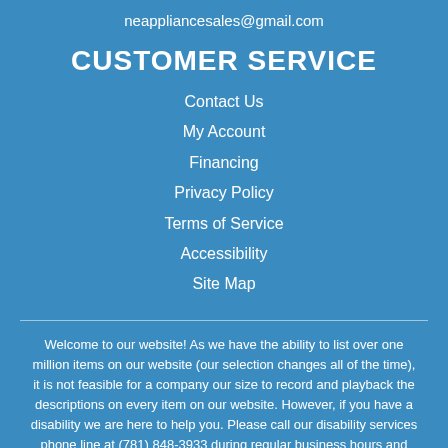neappliancesales@gmail.com
CUSTOMER SERVICE
Contact Us
My Account
Financing
Privacy Policy
Terms of Service
Accessibility
Site Map
Welcome to our website! As we have the ability to list over one million items on our website (our selection changes all of the time), it is not feasible for a company our size to record and playback the descriptions on every item on our website. However, if you have a disability we are here to help you. Please call our disability services phone line at (781) 848-3933 during regular business hours and one of our kind and friendly personal shoppers will help you navigate through our website, help conduct advanced searches, help you choose the item you are looking for with the specifications you are seeking, read you the specifications of any item and consult with you about the products themselves. There is no charge for the help of this personal shopper for anyone with a disability. Finally, your personal shopper will explain our Privacy Policy and Terms of Service and